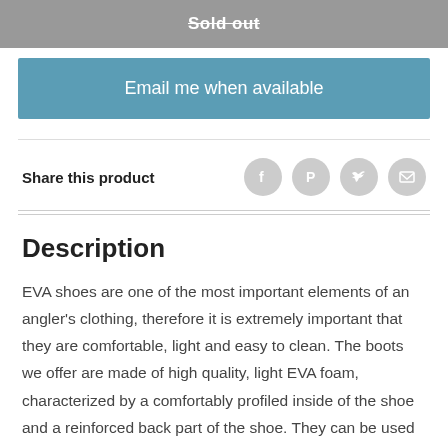Sold out
Email me when available
Share this product
Description
EVA shoes are one of the most important elements of an angler's clothing, therefore it is extremely important that they are comfortable, light and easy to clean. The boots we offer are made of high quality, light EVA foam, characterized by a comfortably profiled inside of the shoe and a reinforced back part of the shoe. They can be used regardless of the weather. Mikado EVA Boots and North Pole Thermal EVA Boots are equipped with warming inserts designed for demanding